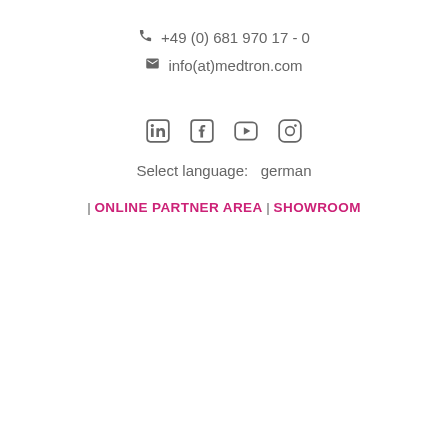+49 (0) 681 970 17 - 0
info(at)medtron.com
[Figure (infographic): Social media icons: LinkedIn, Facebook, YouTube, Instagram]
Select language:   german
| ONLINE PARTNER AREA | SHOWROOM
[Figure (infographic): Hamburger menu icon (three horizontal lines) on the left, and a search/magnifying glass icon on the right]